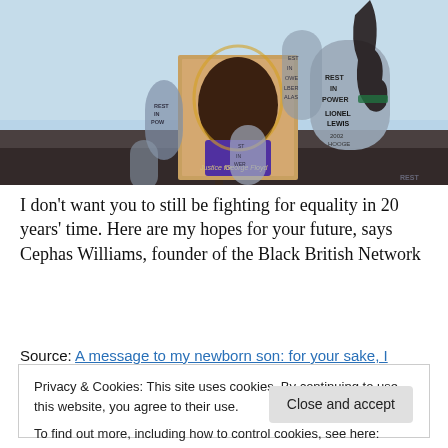[Figure (photo): Protest scene with a painted portrait of George Floyd and 'Rest In Power' memorial signs being held up, with a raised fist visible in the background against a blue sky.]
I don't want you to still be fighting for equality in 20 years' time. Here are my hopes for your future, says Cephas Williams, founder of the Black British Network
Source: A message to my newborn son: for your sake, I
Privacy & Cookies: This site uses cookies. By continuing to use this website, you agree to their use.
To find out more, including how to control cookies, see here: Cookie Policy
Close and accept